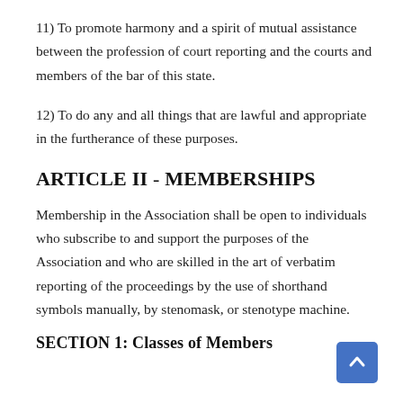11) To promote harmony and a spirit of mutual assistance between the profession of court reporting and the courts and members of the bar of this state.
12) To do any and all things that are lawful and appropriate in the furtherance of these purposes.
ARTICLE II - MEMBERSHIPS
Membership in the Association shall be open to individuals who subscribe to and support the purposes of the Association and who are skilled in the art of verbatim reporting of the proceedings by the use of shorthand symbols manually, by stenomask, or stenotype machine.
SECTION 1: Classes of Members